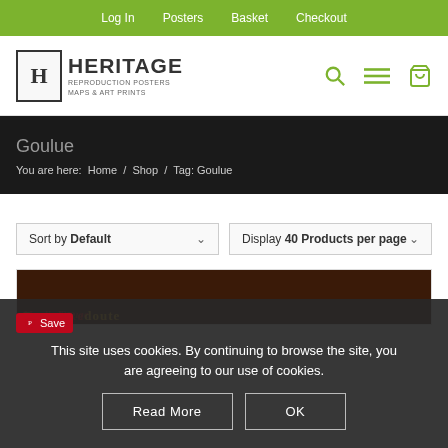Log In  Posters  Basket  Checkout
[Figure (logo): Heritage Reproduction Posters Maps & Art Prints logo with stylized H emblem]
Goulue
You are here:  Home / Shop / Tag: Goulue
Sort by Default    Display 40 Products per page
[Figure (photo): Partial view of a vintage poster product thumbnail, dark reddish background with stylized text]
Save
This site uses cookies. By continuing to browse the site, you are agreeing to our use of cookies.
Read More    OK